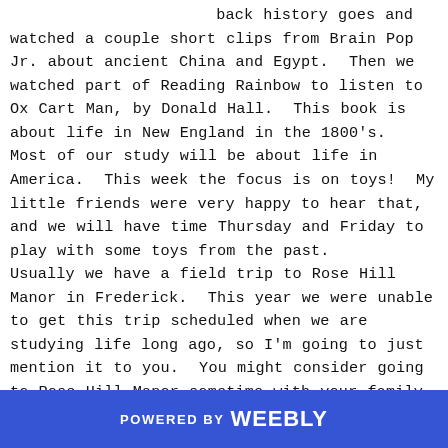back history goes and watched a couple short clips from Brain Pop Jr. about ancient China and Egypt. Then we watched part of Reading Rainbow to listen to Ox Cart Man, by Donald Hall. This book is about life in New England in the 1800's. Most of our study will be about life in America. This week the focus is on toys! My little friends were very happy to hear that, and we will have time Thursday and Friday to play with some toys from the past. Usually we have a field trip to Rose Hill Manor in Frederick. This year we were unable to get this trip scheduled when we are studying life long ago, so I'm going to just mention it to you. You might consider going to Rose Hill Manor sometime with your family if you are looking for something to do on the weekend. There are several parts to area, and I've never seen the far most of it but the...
POWERED BY weebly